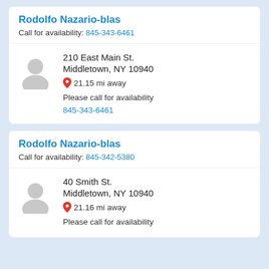Rodolfo Nazario-blas
Call for availability: 845-343-6461
210 East Main St.
Middletown, NY 10940
21.15 mi away
Please call for availability
845-343-6461
Rodolfo Nazario-blas
Call for availability: 845-342-5380
40 Smith St.
Middletown, NY 10940
21.16 mi away
Please call for availability